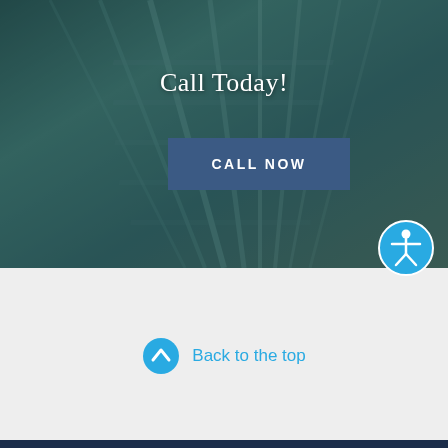[Figure (photo): Dark teal/blue-green background photo of what appears to be train tracks or industrial rails, used as a hero section background image with dark overlay]
Call Today!
CALL NOW
[Figure (illustration): Accessibility icon — blue circle with white stick figure person in open-armed pose]
Back to the top